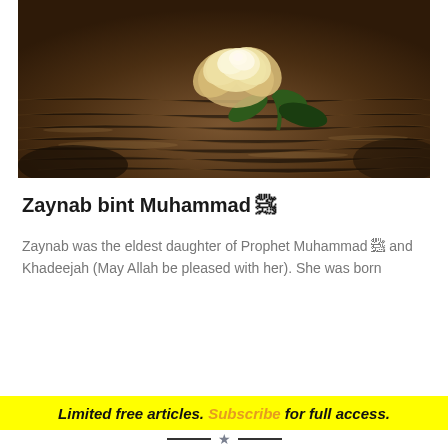[Figure (photo): A white rose resting on a dark, wet surface with water ripple reflections in brown tones]
Zaynab bint Muhammad ﷺ
Zaynab was the eldest daughter of Prophet Muhammad ﷺ and Khadeejah (May Allah be pleased with her). She was born
Limited free articles. Subscribe for full access.